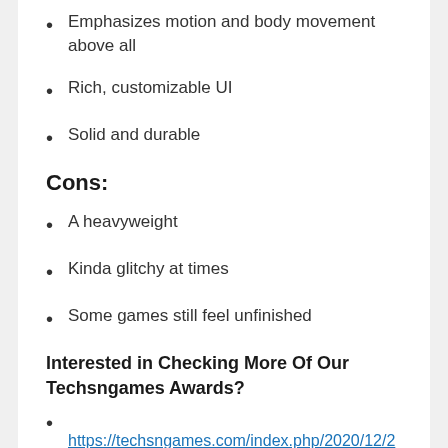Emphasizes motion and body movement above all
Rich, customizable UI
Solid and durable
Cons:
A heavyweight
Kinda glitchy at times
Some games still feel unfinished
Interested in Checking More Of Our Techsngames Awards?
https://techsngames.com/index.php/2020/12/29/techsngames-awards-best-rpg-games-2020-selection/